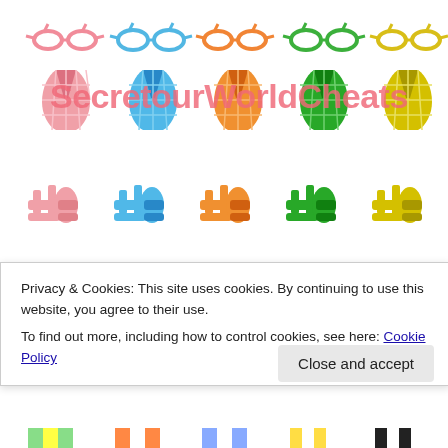[Figure (illustration): Grid of colorful illustrated swimwear items (swimsuits, sunglasses, sandals, capes/ponchos) in pink, blue, orange, green, and yellow colors, with the watermark text 'SecretourWorldCheats' overlaid in pink]
Privacy & Cookies: This site uses cookies. By continuing to use this website, you agree to their use.
To find out more, including how to control cookies, see here: Cookie Policy
Close and accept